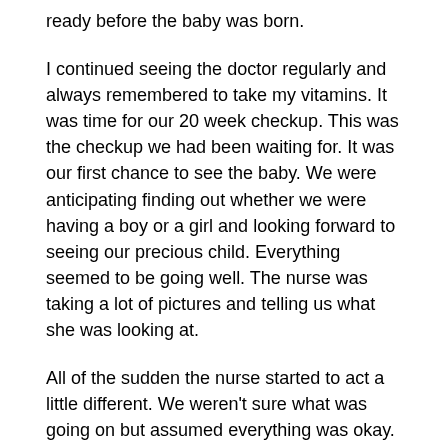ready before the baby was born.
I continued seeing the doctor regularly and always remembered to take my vitamins. It was time for our 20 week checkup. This was the checkup we had been waiting for. It was our first chance to see the baby. We were anticipating finding out whether we were having a boy or a girl and looking forward to seeing our precious child. Everything seemed to be going well. The nurse was taking a lot of pictures and telling us what she was looking at.
All of the sudden the nurse started to act a little different. We weren't sure what was going on but assumed everything was okay. A few minutes later she informed me that she wanted to get a better look at the baby's head and decided to perform a vaginal ultrasound. When the ultrasound was finished she told us that we could wait in a special consultation room so the doctor could discuss the ultrasound with us.